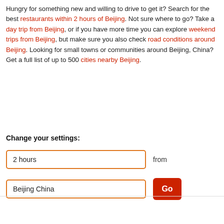Hungry for something new and willing to drive to get it? Search for the best restaurants within 2 hours of Beijing. Not sure where to go? Take a day trip from Beijing, or if you have more time you can explore weekend trips from Beijing, but make sure you also check road conditions around Beijing. Looking for small towns or communities around Beijing, China? Get a full list of up to 500 cities nearby Beijing.
Change your settings:
2 hours
from
Beijing China
Go